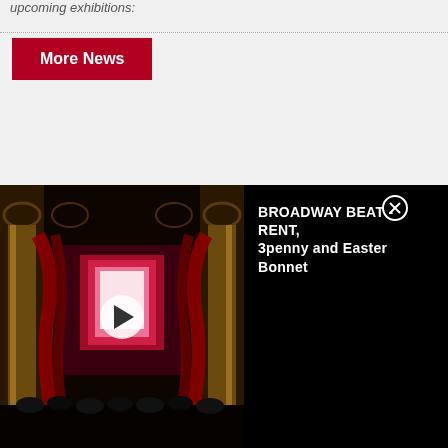upcoming exhibitions:
More News
[Figure (screenshot): Video player thumbnail showing a dark theater stage with red curtains and a bright screen center, with a play button overlay. Adjacent panel shows title text 'BROADWAY BEAT - RENT, 3penny and Easter Bonnet' with a close (X) button.]